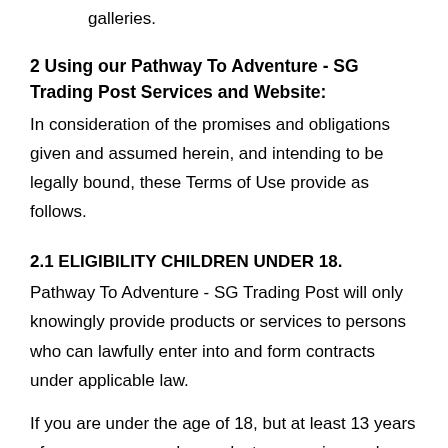galleries.
2 Using our Pathway To Adventure - SG Trading Post Services and Website:
In consideration of the promises and obligations given and assumed herein, and intending to be legally bound, these Terms of Use provide as follows.
2.1 ELIGIBILITY CHILDREN UNDER 18.
Pathway To Adventure - SG Trading Post will only knowingly provide products or services to persons who can lawfully enter into and form contracts under applicable law.
If you are under the age of 18, but at least 13 years of age, you may order products or services only under the supervision of a parent or legal guardian who agrees to be